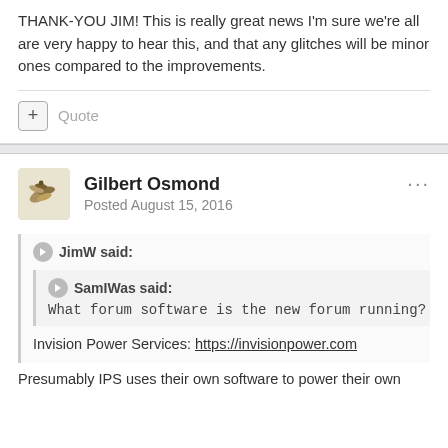THANK-YOU JIM! This is really great news I'm sure we're all are very happy to hear this, and that any glitches will be minor ones compared to the improvements.
Quote
Gilbert Osmond
Posted August 15, 2016
JimW said:
SamIWas said:
What forum software is the new forum running?
Invision Power Services: https://invisionpower.com
Presumably IPS uses their own software to power their own